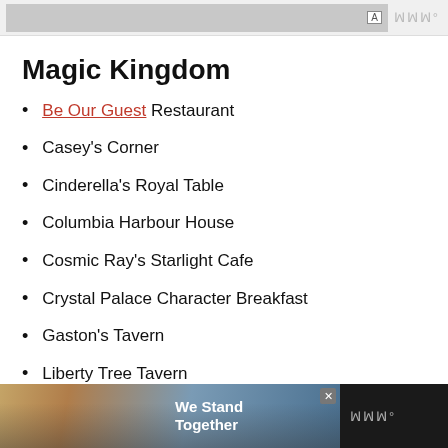[Figure (screenshot): Top advertisement banner with gray background and small A icon]
Magic Kingdom
Be Our Guest Restaurant
Casey's Corner
Cinderella's Royal Table
Columbia Harbour House
Cosmic Ray's Starlight Cafe
Crystal Palace Character Breakfast
Gaston's Tavern
Liberty Tree Tavern
[Figure (screenshot): Bottom advertisement banner: We Stand Together with group photo]